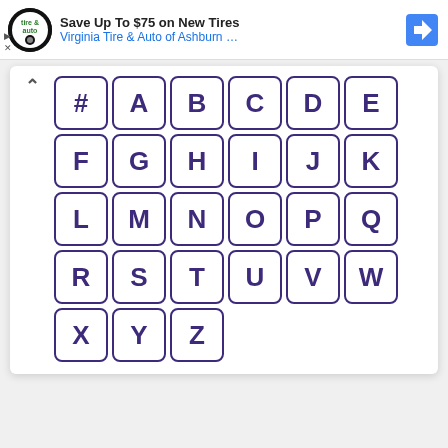[Figure (screenshot): Ad banner: Save Up To $75 on New Tires — Virginia Tire & Auto of Ashburn ...]
[Figure (infographic): Alphabet index grid with buttons for #, A-Z arranged in rows of 6, last row has X, Y, Z only. Each letter in a purple-bordered rounded square button.]